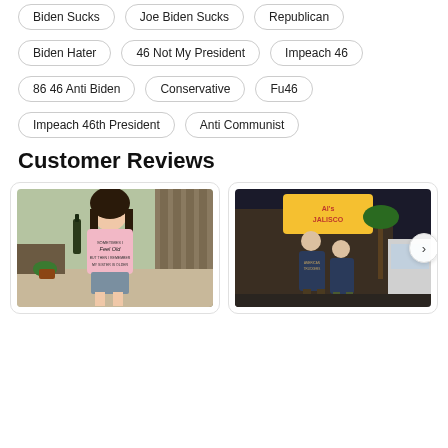Biden Sucks
Joe Biden Sucks
Republican
Biden Hater
46 Not My President
Impeach 46
86 46 Anti Biden
Conservative
Fu46
Impeach 46th President
Anti Communist
Customer Reviews
[Figure (photo): Woman in backyard wearing a pink t-shirt, posing with a wine bottle. Shirt reads 'Sometimes I Feel Old But Then I Remember My Sister Is Older']
[Figure (photo): Two people standing outside at night near a sign reading 'Al's Jalisco'. One person wearing a dark t-shirt with American Truckers design.]